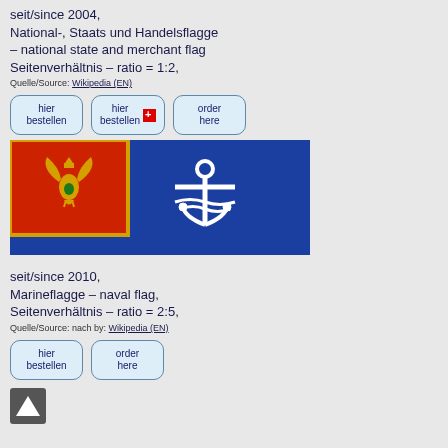seit/since 2004,
National-, Staats und Handelsflagge – national state and merchant flag
Seitenverhältnis – ratio = 1:2,
Quelle/Source: Wikipedia (EN)
hier bestellen | hier bestellen [CH] | order here
[Figure (illustration): Montenegro naval/state flag on blue background with anchor symbol and red canton with golden eagle coat of arms]
seit/since 2010,
Marineflagge – naval flag,
Seitenverhältnis – ratio = 2:5,
Quelle/Source: nach by: Wikipedia (EN)
hier bestellen | order here
[Figure (illustration): Up arrow navigation button]